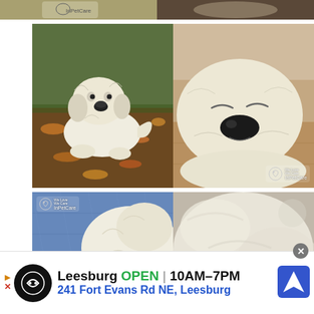[Figure (photo): Partial top strip showing two cropped dog photos — left side shows a white fluffy dog and right side shows a dark background with a white dog]
[Figure (photo): Left: white fluffy Great Pyrenees puppy lying on grass with autumn leaves. Right: white fluffy puppy sleeping on a wooden floor, close-up of face with black nose. Both photos watermarked with InPetCare logo.]
[Figure (photo): Left: close-up of white fluffy dog fur against denim fabric with InPetCare watermark. Right: blurry close-up of white dog fur.]
Leesburg  OPEN  |  10AM–7PM
241 Fort Evans Rd NE, Leesburg